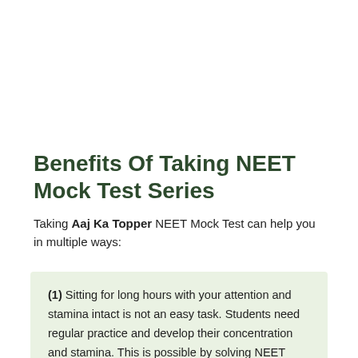Benefits Of Taking NEET Mock Test Series
Taking Aaj Ka Topper NEET Mock Test can help you in multiple ways:
(1) Sitting for long hours with your attention and stamina intact is not an easy task. Students need regular practice and develop their concentration and stamina. This is possible by solving NEET sample papers on a regular basis.